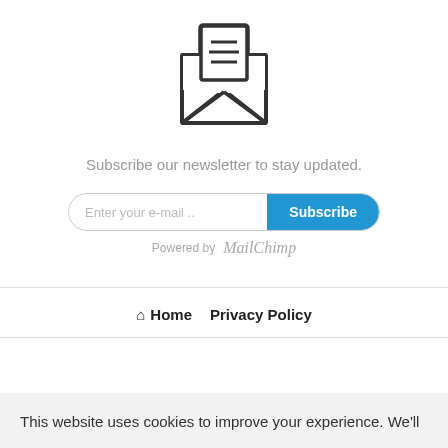[Figure (illustration): Open envelope icon with a letter/document inside showing horizontal lines, drawn in a simple outline style]
Subscribe our newsletter to stay updated.
[Figure (other): Email subscription form with an input field labeled 'Enter your e-mail ..' and a blue 'Subscribe' button]
Powered by MailChimp
🏠 Home   Privacy Policy
This website uses cookies to improve your experience. We'll